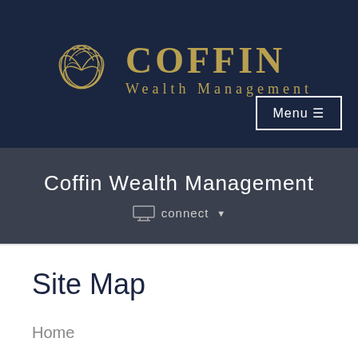[Figure (logo): Coffin Wealth Management logo with swirling gold graphic and gold text reading COFFIN Wealth Management on dark navy background]
Menu ≡
Coffin Wealth Management
connect ▼
Site Map
Home